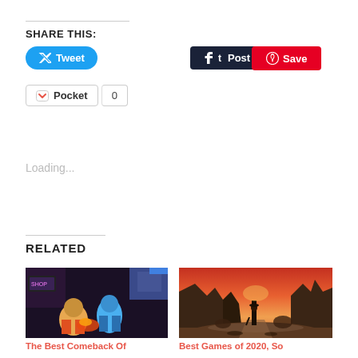SHARE THIS:
[Figure (other): Tweet button (Twitter/X blue rounded button with bird icon and 'Tweet' text)]
[Figure (other): Post button (Tumblr dark button with 't' icon and 'Post' text)]
[Figure (other): Save button (Pinterest red button with 'P' icon and 'Save' text)]
[Figure (other): Pocket button with heart icon and count badge showing 0]
Loading...
RELATED
[Figure (screenshot): Game screenshot showing colorful fighting game characters in a dark urban scene]
The Best Comeback Of
[Figure (illustration): Atmospheric illustration of a lone figure walking through a desert canyon at sunset]
Best Games of 2020, So